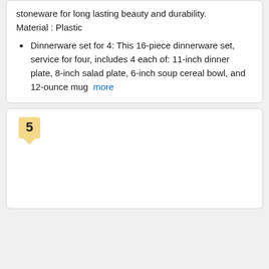stoneware for long lasting beauty and durability. Material : Plastic
Dinnerware set for 4: This 16-piece dinnerware set, service for four, includes 4 each of: 11-inch dinner plate, 8-inch salad plate, 6-inch soup cereal bowl, and 12-ounce mug  more
5